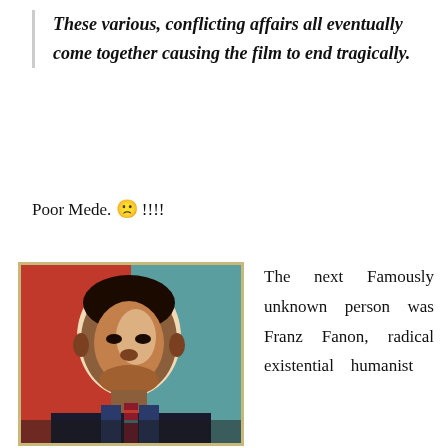These various, conflicting affairs all eventually come together causing the film to end tragically.
Poor Mede. 🙁 !!!!
[Figure (illustration): A stylized poster-art image of Franz Fanon in red, teal/blue, and cream colors, reminiscent of political poster style, with a yellow/tan border.]
The next Famously unknown person was Franz Fanon, radical existential humanist